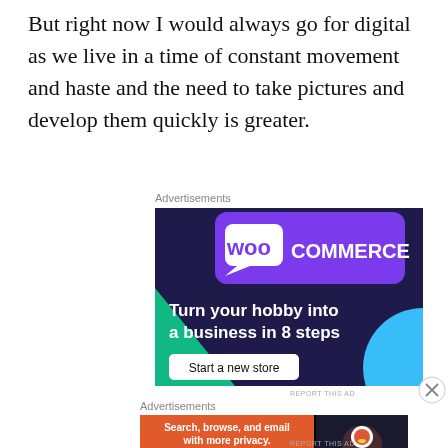But right now I would always go for digital as we live in a time of constant movement and haste and the need to take pictures and develop them quickly is greater.
Advertisements
[Figure (illustration): WooCommerce advertisement banner with dark purple/blue background, teal triangle shape, light blue circle, WooCommerce logo at top, text 'Turn your hobby into a business in 8 steps' and a 'Start a new store' button]
Advertisements
[Figure (illustration): DuckDuckGo advertisement banner with orange background on left side reading 'Search, browse, and email with more privacy. All in One Free App' and dark background on right with DuckDuckGo logo]